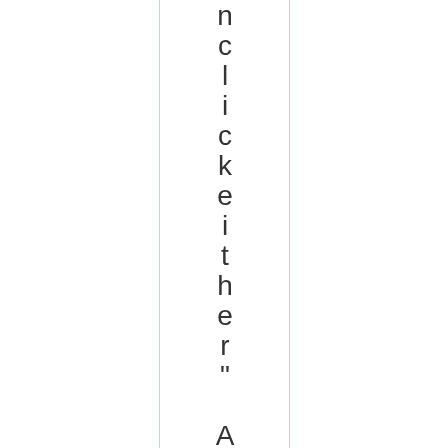n c l i c k e i t h e r " A d d